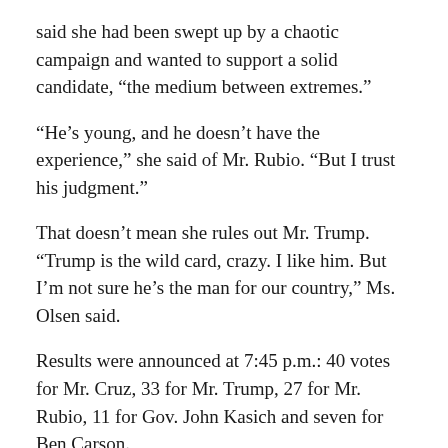said she had been swept up by a chaotic campaign and wanted to support a solid candidate, “the medium between extremes.”
“He’s young, and he doesn’t have the experience,” she said of Mr. Rubio. “But I trust his judgment.”
That doesn’t mean she rules out Mr. Trump. “Trump is the wild card, crazy. I like him. But I’m not sure he’s the man for our country,” Ms. Olsen said.
Results were announced at 7:45 p.m.: 40 votes for Mr. Cruz, 33 for Mr. Trump, 27 for Mr. Rubio, 11 for Gov. John Kasich and seven for Ben Carson.
There was one write-in vote for John Galt, a character in Ayn Rand’s novel “Atlas Shrugged.”